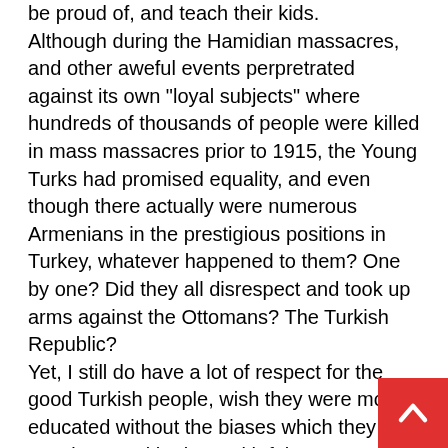be proud of, and teach their kids. Although during the Hamidian massacres, and other aweful events perpretrated against its own "loyal subjects" where hundreds of thousands of people were killed in mass massacres prior to 1915, the Young Turks had promised equality, and even though there actually were numerous Armenians in the prestigious positions in Turkey, whatever happened to them? One by one? Did they all disrespect and took up arms against the Ottomans? The Turkish Republic? Yet, I still do have a lot of respect for the good Turkish people, wish they were more educated without the biases which they are growing up with along with false information. Then, the truth would be exposed, and they would truly realize that they are living the lies being brought up with. If they then are good persons, will apologize, perhaps settle on some sort of compensation (Turkey with its earning power wouldn't suffer much, considering), and move on to become a truly world power, with not only might, yet the respect they would deserve. Foolish pride is not something that lasts forever, and sooner or later will come to the surface, be quashed by another stronger power. If one has nothing to be ashamed of, one does not have to spend countless tens of